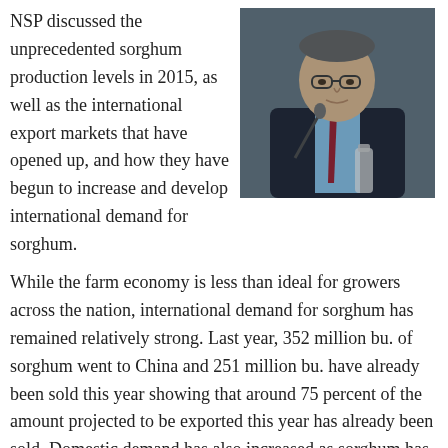NSP discussed the unprecedented sorghum production levels in 2015, as well as the international export markets that have opened up, and how they have begun to increase and develop international demand for sorghum.
[Figure (photo): Photo of a man in a dark suit with a red tie, wearing glasses, speaking at a podium with a microphone. A water bottle is visible on the table in front of him.]
While the farm economy is less than ideal for growers across the nation, international demand for sorghum has remained relatively strong. Last year, 352 million bu. of sorghum went to China and 251 million bu. have already been sold this year showing that around 75 percent of the amount projected to be exported this year has already been sold. Domestic demand has also increased as sorghum has entered into the ethanol industry, and has flowed into 24